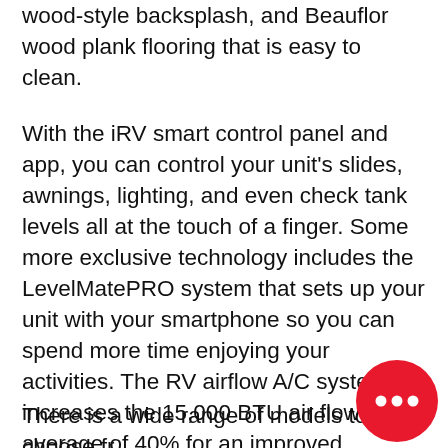wood-style backsplash, and Beauflor wood plank flooring that is easy to clean.
With the iRV smart control panel and app, you can control your unit's slides, awnings, lighting, and even check tank levels all at the touch of a finger. Some more exclusive technology includes the LevelMatePRO system that sets up your unit with your smartphone so you can spend more time enjoying your activities. The RV airflow A/C system increases the 15,000 BTU air flow by an average of 40% for an improved performance, faster cooling time, and reduction of noise!
There is a wide range of models to choose from to find the right Vector RV. Contact Today...
[Figure (illustration): Red circular chat bubble button with three white dots indicating a live chat feature, positioned in the bottom-right corner]